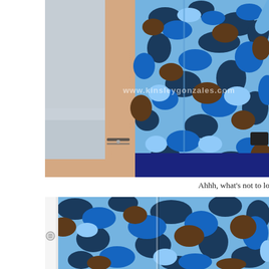[Figure (photo): Close-up photo of a person wearing a blue camouflage printed short-sleeve shirt, showing torso and arms. The person wears dark pants and a bracelet. Watermark reads www.kinsleygonzales.com. Background is light gray/concrete.]
Ahhh, what's not to love about this camo printed s
[Figure (photo): Close-up detail photo of a blue camouflage printed fabric/shirt, showing the collar area and button details in white, with blue, dark navy, brown and light blue camo pattern.]